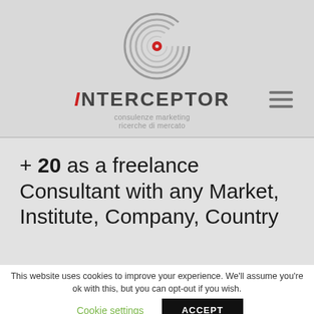[Figure (logo): Interceptor company logo: concentric spiral circles in gray with a red dot in the center]
iNTERCEPTOR consulenze marketing ricerche di mercato
+ 20 as a freelance Consultant with any Market, Institute, Company, Country
This website uses cookies to improve your experience. We'll assume you're ok with this, but you can opt-out if you wish.
Cookie settings  ACCEPT